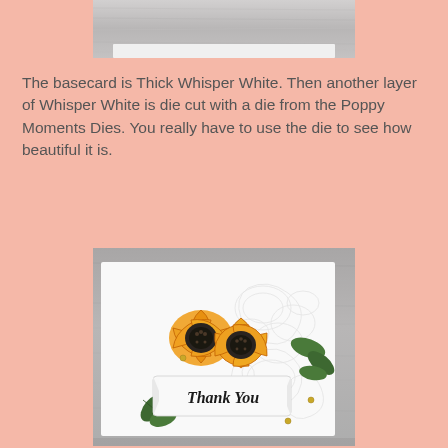[Figure (photo): Partial view of a handmade card on a wooden surface, showing top edge only]
The basecard is Thick Whisper White.  Then another layer of Whisper White is die cut with a die from the Poppy Moments Dies.  You really have to use the die to see how beautiful it is.
[Figure (photo): A handmade Thank You card featuring two orange poppy flowers with dark centers, green leaves, embossed white background with floral die cut pattern, and a 'Thank You' sentiment label in the center, with gold brad accents, displayed on a gray wooden surface]